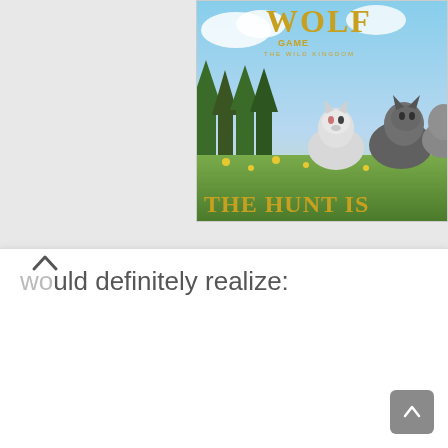[Figure (screenshot): Wolf Game: The Wild Kingdom advertisement banner showing wolves in a field with text 'THE HUNT IS' visible, partially cropped at right edge of the page]
would definitely realize:
[Figure (other): Scroll to top button (grey rounded square with upward arrow) in bottom right corner]